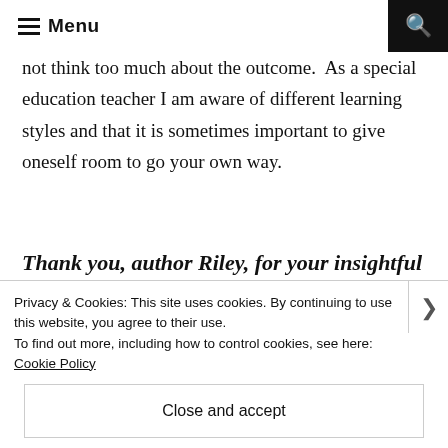Menu
not think too much about the outcome.  As a special education teacher I am aware of different learning styles and that it is sometimes important to give oneself room to go your own way.
Thank you, author Riley, for your insightful answers!
About the Book
Privacy & Cookies: This site uses cookies. By continuing to use this website, you agree to their use.
To find out more, including how to control cookies, see here: Cookie Policy
Close and accept